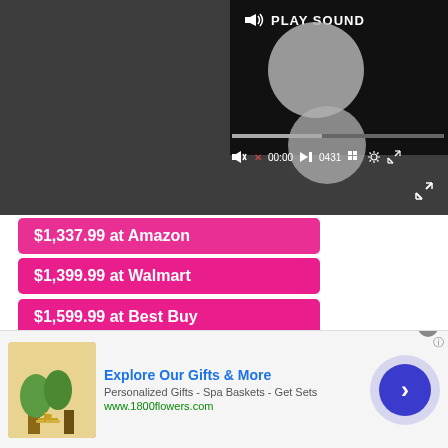[Figure (screenshot): Video player overlay with play sound controls, progress bar, and playback controls on dark background]
$1,337.99 at Amazon
$1,399.99 at Walmart
$1,599.99 at Best Buy
You can order the Surface Laptop Studio from almost anywhere in the world through Big Apple Buddy.
[Figure (screenshot): Advertisement banner for 1800flowers.com: Explore Our Gifts & More. Personalized Gifts - Spa Baskets - Get Sets. www.1800flowers.com]